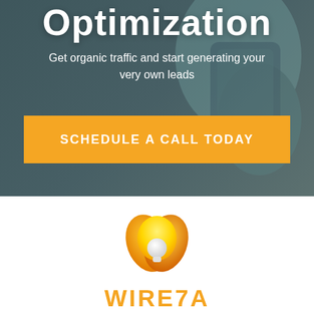Optimization
Get organic traffic and start generating your very own leads
SCHEDULE A CALL TODAY
[Figure (logo): Wireza company logo: a stylized light bulb with orange and yellow flame-like shapes, with the text WIREZA below in bold orange letters.]